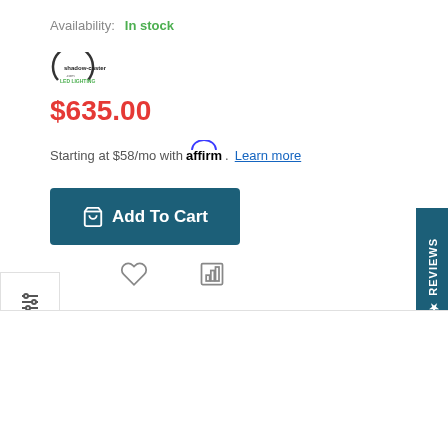Availability:  In stock
[Figure (logo): Shadow Caster LED Lighting brand logo]
$635.00
Starting at $58/mo with affirm. Learn more
Add To Cart
REVIEWS
-6%
[Figure (photo): Product image — white oval LED light fixture, bottom portion visible]